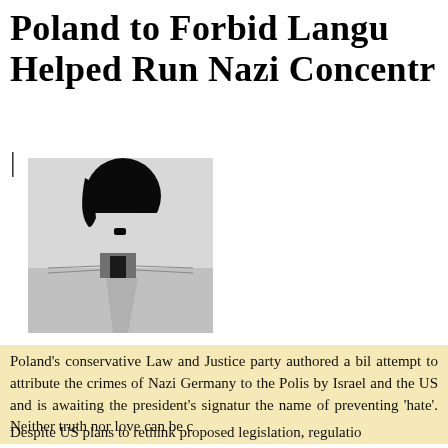Poland to Forbid Language That Implied Poles Helped Run Nazi Concentration Camps
[Figure (photo): Black and white photograph of the entrance gate of a Nazi concentration camp, with a graphic black silhouette overlay resembling Adolf Hitler's profile (hair and mustache) superimposed above the gate.]
Poland's conservative Law and Justice party authored a bill to criminalize attempt to attribute the crimes of Nazi Germany to the Polish state, condemned by Israel and the US and is awaiting the president's signature. It does so in the name of preventing 'hate'. Neither truth nor love can be c
Despite US plans to rethink proposed legislation, regulation...